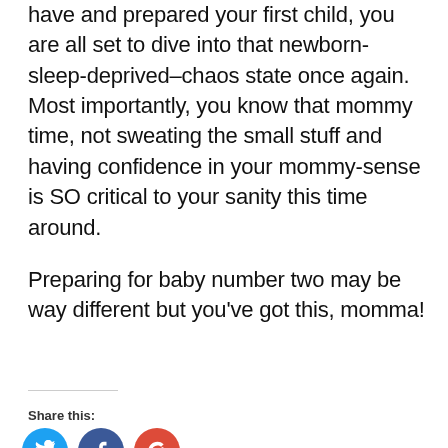have and prepared your first child, you are all set to dive into that newborn-sleep-deprived–chaos state once again. Most importantly, you know that mommy time, not sweating the small stuff and having confidence in your mommy-sense is SO critical to your sanity this time around.

Preparing for baby number two may be way different but you've got this, momma!
Share this: